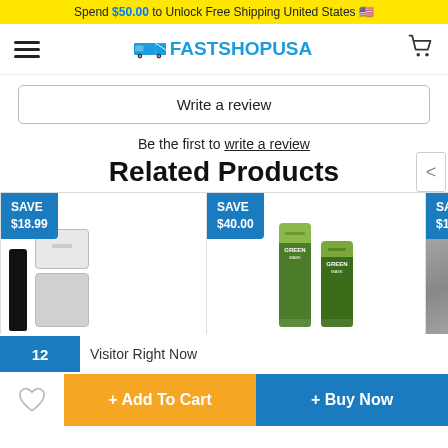Spend $50.00 to Unlock Free Shipping United States
[Figure (logo): FastShopUSA logo with delivery truck icon]
Write a review
Be the first to write a review
Related Products
[Figure (photo): Product 1 - SAVE $18.99 - Camera tripod and white storage boxes]
[Figure (photo): Product 2 - SAVE $40.00 - Green tea face mask sticks]
[Figure (photo): Product 3 - SAVE $19.99 - Partial view of sleep-related product]
12 Visitor Right Now
+ Add To Cart
+ Buy Now